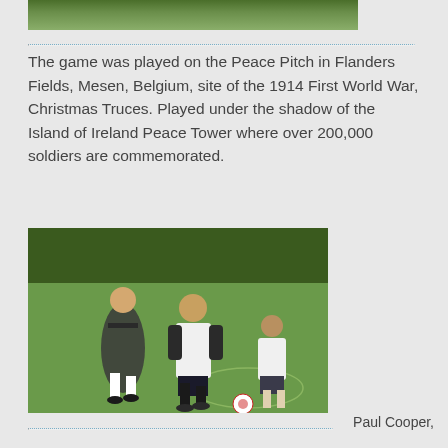[Figure (photo): Partial top view of a green grass sports field]
The game was played on the Peace Pitch in Flanders Fields, Mesen, Belgium, site of the 1914 First World War, Christmas Truces.  Played under the shadow of the Island of Ireland Peace Tower where over 200,000 soldiers are commemorated.
[Figure (photo): Three men playing football (soccer) on a green grass pitch. A player in dark kit is on the left, a player in white kit with dark arm sleeves is in the center, and a player in white short-sleeve shirt is in the background.]
Paul Cooper,